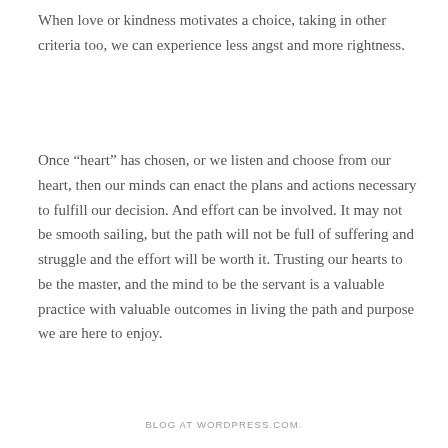When love or kindness motivates a choice, taking in other criteria too, we can experience less angst and more rightness.
Once “heart” has chosen, or we listen and choose from our heart, then our minds can enact the plans and actions necessary to fulfill our decision. And effort can be involved. It may not be smooth sailing, but the path will not be full of suffering and struggle and the effort will be worth it. Trusting our hearts to be the master, and the mind to be the servant is a valuable practice with valuable outcomes in living the path and purpose we are here to enjoy.
BLOG AT WORDPRESS.COM.